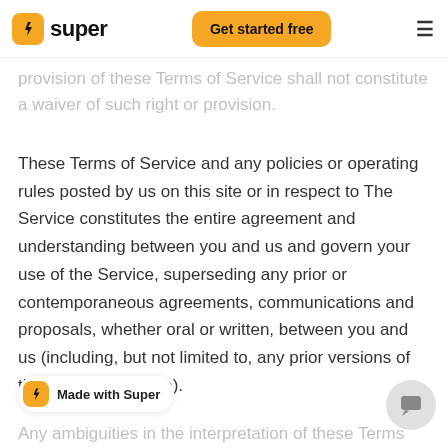super | Get started free
provision of these Terms of Service shall not constitute a waiver of such right or provision.
These Terms of Service and any policies or operating rules posted by us on this site or in respect to The Service constitutes the entire agreement and understanding between you and us and govern your use of the Service, superseding any prior or contemporaneous agreements, communications and proposals, whether oral or written, between you and us (including, but not limited to, any prior versions of the Terms of Service).
Any ambiguities in the interpretation of these Terms